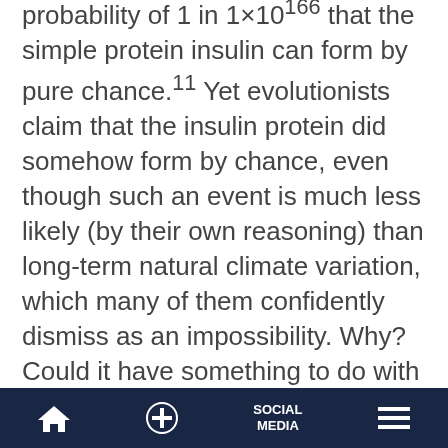probability of 1 in 1×10^166 that the simple protein insulin can form by pure chance.¹¹ Yet evolutionists claim that the insulin protein did somehow form by chance, even though such an event is much less likely (by their own reasoning) than long-term natural climate variation, which many of them confidently dismiss as an impossibility. Why? Could it have something to do with their worldview?
Lovejoy quickly dismisses other factors that can affect climate, such as changes in solar activity. But mounting evidence...
Home | + | SOCIAL MEDIA | Menu